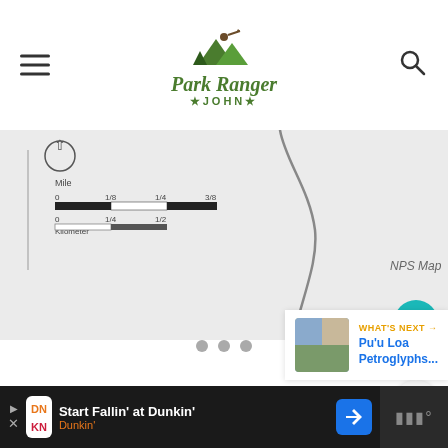Park Ranger John
[Figure (map): NPS Map partial view showing scale bar in miles (0, 1/8, 1/4, 3/8) and kilometers (0, 1/4, 1/2), north arrow, and a curved trail path line]
NPS Map
[Figure (other): Carousel with 3 navigation dots]
[Figure (other): What's Next section with thumbnail, label 'WHAT'S NEXT' and title 'Pu'u Loa Petroglyphs...']
Start Fallin' at Dunkin'
Dunkin'